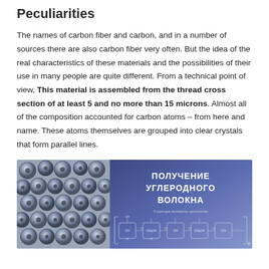Peculiarities
The names of carbon fiber and carbon, and in a number of sources there are also carbon fiber very often. But the idea of the real characteristics of these materials and the possibilities of their use in many people are quite different. From a technical point of view, This material is assembled from the thread cross section of at least 5 and no more than 15 microns. Almost all of the composition accounted for carbon atoms – from here and name. These atoms themselves are grouped into clear crystals that form parallel lines.
[Figure (photo): Image showing carbon fiber cross-section on the left (grey circular fiber bundles) and a Russian-language infographic on the right with title 'ПОЛУЧЕНИЕ УГЛЕРОДНОГО ВОЛОКНА' (Production of Carbon Fiber) on a blue-purple gradient background, with a molecular structure diagram below the title labeled 'Структура молекулы целлюлозы']